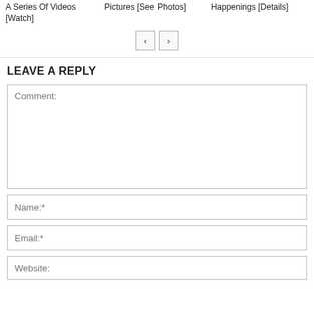A Series Of Videos [Watch]
Pictures [See Photos]
Happenings [Details]
LEAVE A REPLY
Comment:
Name:*
Email:*
Website: